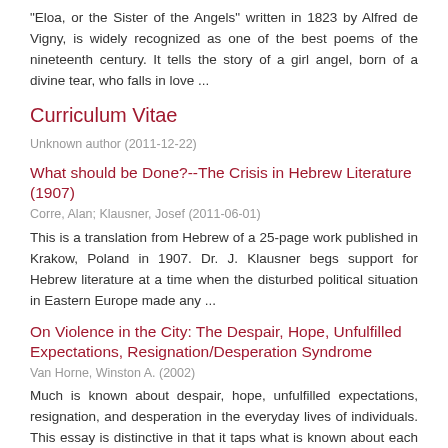"Eloa, or the Sister of the Angels" written in 1823 by Alfred de Vigny, is widely recognized as one of the best poems of the nineteenth century. It tells the story of a girl angel, born of a divine tear, who falls in love ...
Curriculum Vitae
Unknown author (2011-12-22)
What should be Done?--The Crisis in Hebrew Literature (1907)
Corre, Alan; Klausner, Josef (2011-06-01)
This is a translation from Hebrew of a 25-page work published in Krakow, Poland in 1907. Dr. J. Klausner begs support for Hebrew literature at a time when the disturbed political situation in Eastern Europe made any ...
On Violence in the City: The Despair, Hope, Unfulfilled Expectations, Resignation/Desperation Syndrome
Van Horne, Winston A. (2002)
Much is known about despair, hope, unfulfilled expectations, resignation, and desperation in the everyday lives of individuals. This essay is distinctive in that it taps what is known about each concept individually to ...
A is also A Theory of E...